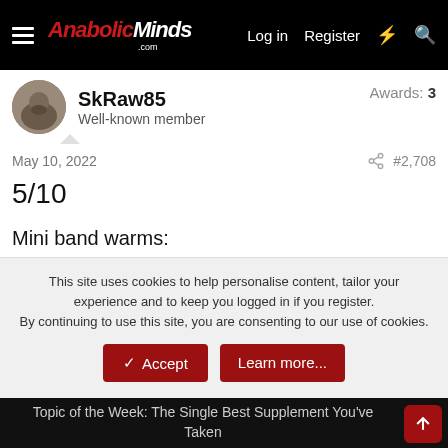AnabolicMinds.com — Log in  Register
SkRaw85
Well-known member
Awards: 3
May 10, 2022  #2,708
5/10

Mini band warms:
Snatch to behind head x 10
Pullaparts x 10
This site uses cookies to help personalise content, tailor your experience and to keep you logged in if you register.
By continuing to use this site, you are consenting to our use of cookies.
✓ Accept    Learn more...
Topic of the Week: The Single Best Supplement You've Taken